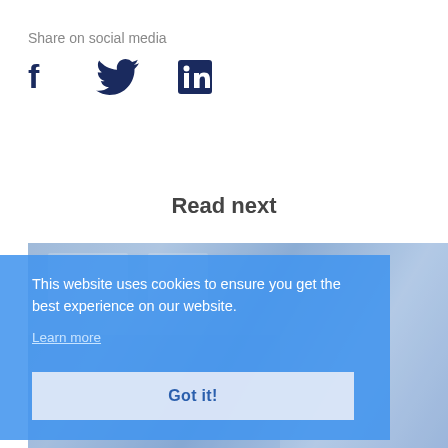Share on social media
[Figure (illustration): Social media icons: Facebook, Twitter, LinkedIn in dark navy blue]
Read next
[Figure (photo): Medical room/operating room interior with blue lighting and equipment]
This website uses cookies to ensure you get the best experience on our website.
Learn more
Got it!